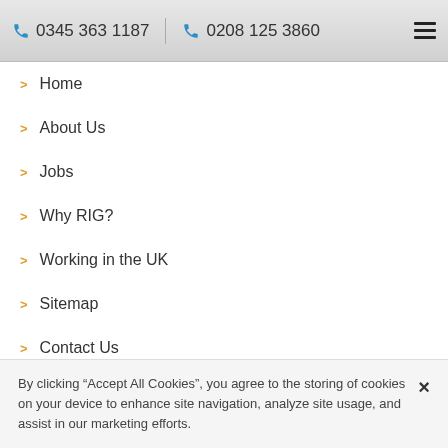0345 363 1187   0208 125 3860
Home
About Us
Jobs
Why RIG?
Working in the UK
Sitemap
Contact Us
O&G
Ophthalmology
Healthcare Assistants
By clicking “Accept All Cookies”, you agree to the storing of cookies on your device to enhance site navigation, analyze site usage, and assist in our marketing efforts.